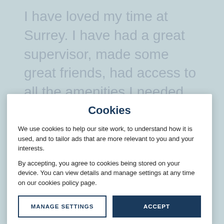I have loved my time at Surrey. I have had a great supervisor, made some great friends, had access to all the amenities I needed, and have been able to present my work to my colleagues for feedback.
Cookies
We use cookies to help our site work, to understand how it is used, and to tailor ads that are more relevant to you and your interests.
By accepting, you agree to cookies being stored on your device. You can view details and manage settings at any time on our cookies policy page.
MANAGE SETTINGS
ACCEPT